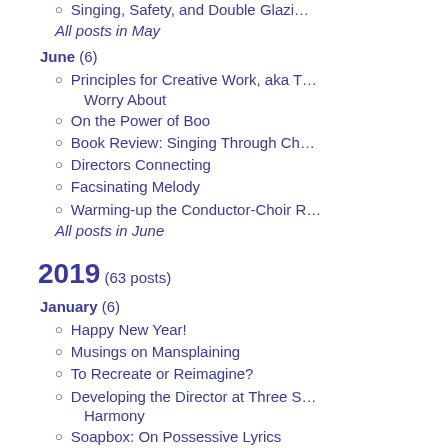Singing, Safety, and Double Glazi…
All posts in May
June (6)
Principles for Creative Work, aka T… Worry About
On the Power of Boo
Book Review: Singing Through Ch…
Directors Connecting
Facsinating Melody
Warming-up the Conductor-Choir R…
All posts in June
2019 (63 posts)
January (6)
Happy New Year!
Musings on Mansplaining
To Recreate or Reimagine?
Developing the Director at Three S… Harmony
Soapbox: On Possessive Lyrics
On Vocal Confidence
All posts in January
February (6)
Setting the Tone with Jordan Travi…
Exploring Compensating Rubato w…
On Choral Courage